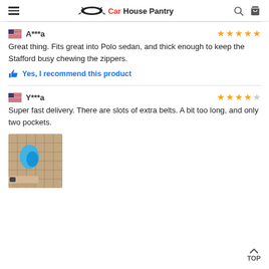Car House Pantry
A***a — 5 stars
Great thing. Fits great into Polo sedan, and thick enough to keep the Stafford busy chewing the zippers.
Yes, I recommend this product
Y***a — 4 stars
Super fast delivery. There are slots of extra belts. A bit too long, and only two pockets.
[Figure (photo): Photo of a car seat cover/organizer with beige fabric and a blue object visible inside, shown in a car trunk or seat.]